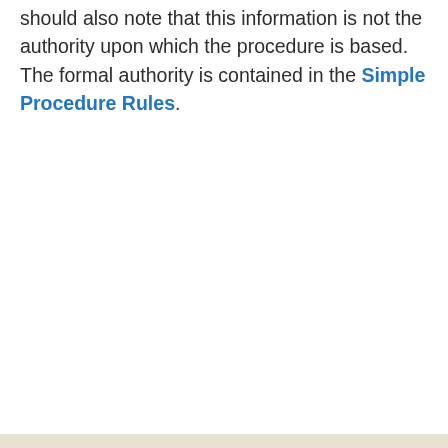should also note that this information is not the authority upon which the procedure is based. The formal authority is contained in the Simple Procedure Rules.